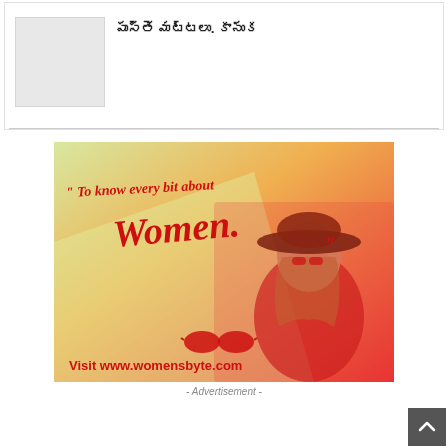[Figure (other): Gray placeholder thumbnail image for a post]
పుస్తె మట్టలు. కానుక
[Figure (illustration): Advertisement banner for womensbyte.com with red script text 'To know every bit about Women.' and woman in red wearing sunglasses and wide-brim hat. Text: Visit www.womensbyte.com]
- Advertisement -